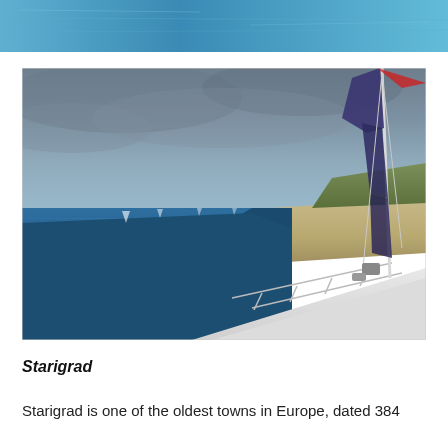[Figure (photo): Partial top photo showing blue water/sea, cropped at the top of the page]
[Figure (photo): View from the bow of a sailboat on blue calm water with a sandy coastline on the right, stormy grey-blue sky above, mast and furled sail visible on the right side]
Starigrad
Starigrad is one of the oldest towns in Europe, dated 384